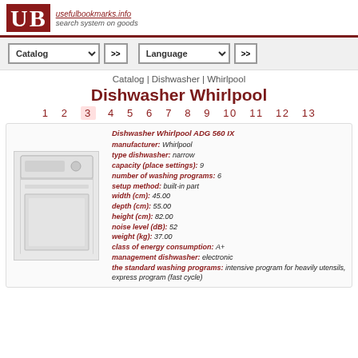usefulbookmarks.info search system on goods
Catalog | Language
Catalog | Dishwasher | Whirlpool
Dishwasher Whirlpool
1 2 3 4 5 6 7 8 9 10 11 12 13
Dishwasher Whirlpool ADG 560 IX manufacturer: Whirlpool type dishwasher: narrow capacity (place settings): 9 number of washing programs: 6 setup method: built-in part width (cm): 45.00 depth (cm): 55.00 height (cm): 82.00 noise level (dB): 52 weight (kg): 37.00 class of energy consumption: A+ management dishwasher: electronic the standard washing programs: intensive program for heavily utensils, express program (fast cycle)